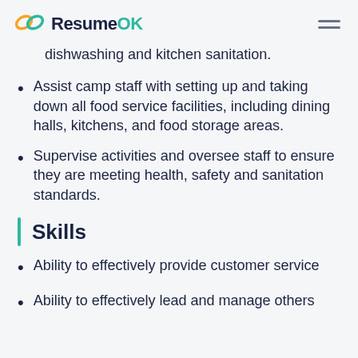ResumeOK
dishwashing and kitchen sanitation.
Assist camp staff with setting up and taking down all food service facilities, including dining halls, kitchens, and food storage areas.
Supervise activities and oversee staff to ensure they are meeting health, safety and sanitation standards.
Skills
Ability to effectively provide customer service
Ability to effectively lead and manage others